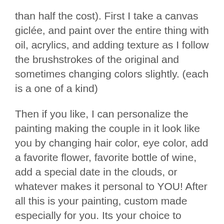than half the cost). First I take a canvas giclée, and paint over the entire thing with oil, acrylics, and adding texture as I follow the brushstrokes of the original and sometimes changing colors slightly. (each is a one of a kind)
Then if you like, I can personalize the painting making the couple in it look like you by changing hair color, eye color, add a favorite flower, favorite bottle of wine, add a special date in the clouds, or whatever makes it personal to YOU! After all this is your painting, custom made especially for you. Its your choice to make changes or keep the piece just exactly as you see it. Having an artist proof that has been painted over really brings the giclée to life, adding bright, vivid color– there is nothing like it. Keeping within my commitment to my art, I have set the edition size very low. (Typically there are only 10 artist proofs ever made for each painting, so they can sell out fast) Since Artist Proofs have a lot of work that goes into them, I require a minimum